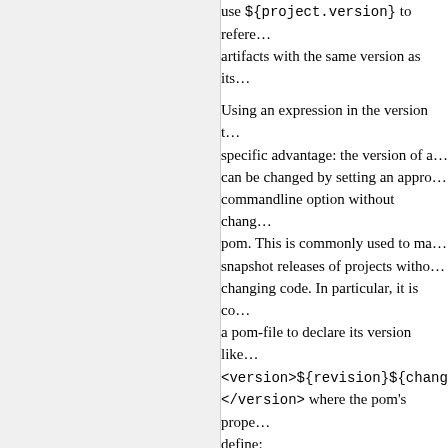use ${project.version} to reference artifacts with the same version as its
Using an expression in the version tag has a specific advantage: the version of a project can be changed by setting an appropriate commandline option without changing the pom. This is commonly used to make snapshot releases of projects without changing code. In particular, it is common for a pom-file to declare its version like <version>${revision}${changelist}</version> where the pom's properties define:
revision={current development version}
changelist="-SNAPSHOT"
Making a release build can then be done simply by setting changelist to an empty string on the Maven commandline, and moving developers to the next version (after release) is just a matter of updating the value of property revision in the pom-file. A project consisting of a single artifa